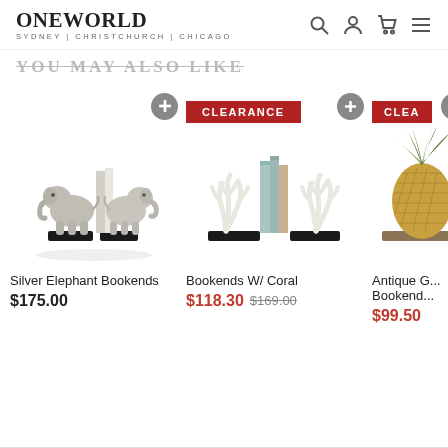[Figure (logo): OneWorld logo with text SYDNEY | CHRISTCHURCH | CHICAGO]
YOU MAY ALSO LIKE
[Figure (photo): Silver Elephant Bookends product photo]
Silver Elephant Bookends
$175.00
[Figure (photo): Bookends W/ Coral product photo with CLEARANCE badge]
Bookends W/ Coral
$118.30  $169.00
[Figure (photo): Antique Gold Pineapple Bookends product photo with CLEARANCE badge (partially visible)]
Antique G... Bookend...
$99.50